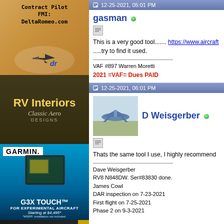[Figure (photo): Guitar pick shaped ad: Contract Pilot FMI: DeltaRomeo.com with airplane logo and dr text]
[Figure (photo): RV Interiors Classic Aero Designs advertisement on dark background with yellow text]
[Figure (photo): Garmin G3X Touch for Experimental Aircraft ad, Starting at $4,495*]
[Figure (photo): Aerotronics Plug & Play Panels advertisement on dark background]
[Figure (photo): Continental - It's high time for a fresh start advertisement]
12-25-2021, 05:01 PM
gasman
This is a very good tool....... https://www.aircraft .....try to find it used.
VAF #897 Warren Moretti
2021 =VAF= Dues PAID
12-25-2021, 06:01 PM
D Weisgerber
Thats the same tool I use, I highly recommend
Dave Weisgerber
RV8 N848DW. Ser#83830 done.
James Cowl
DAR inspection on 7-23-2021
First flight on 7-25-2021
Phase 2 on 9-3-2021